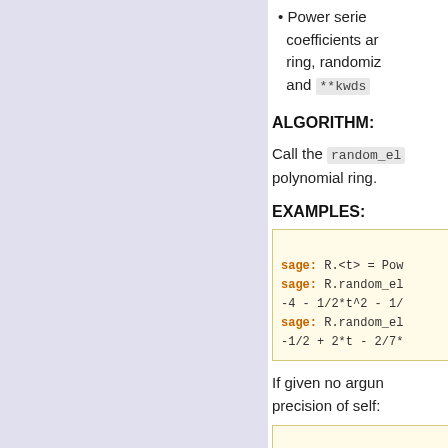Power series coefficients are in the ring, randomized and **kwds
ALGORITHM:
Call the random_element method of the underlying polynomial ring.
EXAMPLES:
[Figure (screenshot): Code block showing sage: R.<t> = PowerSeries..., R.random_element..., output -4 - 1/2*t^2 - 1/..., sage: R.random_element..., -1/2 + 2*t - 2/7*...]
If given no arguments, returns an element of precision of self:
[Figure (screenshot): Code block showing sage: T = PowerSeries..., sage: T.default_p..., 20]